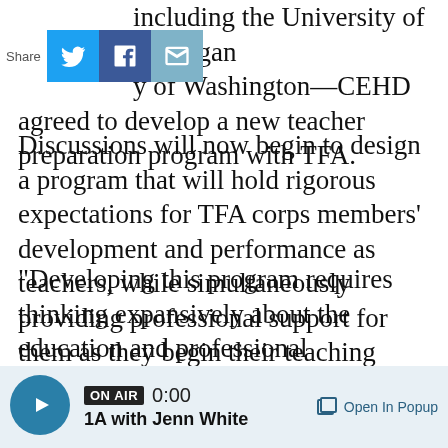including the University of Michigan y of Washington—CEHD agreed to develop a new teacher preparation program with TFA.
Discussions will now begin to design a program that will hold rigorous expectations for TFA corps members' development and performance as teachers, while simultaneously providing professional support for them as they begin their teaching careers.
"Developing this program requires thinking expansively about the education and professional development that will most benefit new teachers and P-12 students in our state,"
[Figure (other): Social media share bar with Twitter, Facebook, and email icons]
[Figure (other): Audio player bar showing ON AIR badge, 0:00 time, 1A with Jenn White station name, and Open In Popup button]